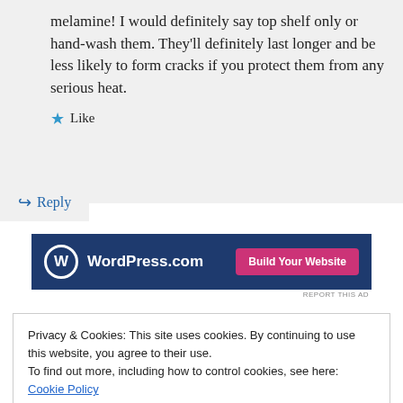melamine! I would definitely say top shelf only or hand-wash them. They'll definitely last longer and be less likely to form cracks if you protect them from any serious heat.
★ Like
↪ Reply
[Figure (screenshot): WordPress.com advertisement banner with blue background, WordPress.com logo on left, and pink 'Build Your Website' button on right]
REPORT THIS AD
Privacy & Cookies: This site uses cookies. By continuing to use this website, you agree to their use.
To find out more, including how to control cookies, see here: Cookie Policy
Close and accept